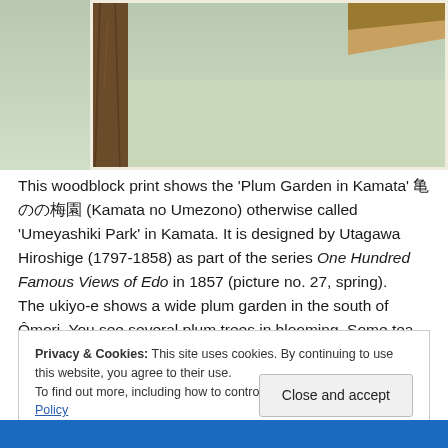[Figure (illustration): Partial view of a Japanese woodblock print showing a plum garden scene with green background, brown tree trunk on the left, and a building roof visible at the upper right corner.]
This woodblock print shows the 'Plum Garden in Kamata' 亀 のの梅園 (Kamata no Umezono) otherwise called 'Umeyashiki Park' in Kamata. It is designed by Utagawa Hiroshige (1797-1858) as part of the series One Hundred Famous Views of Edo in 1857 (picture no. 27, spring). The ukiyo-e shows a wide plum garden in the south of Ômori. You see several plum trees in blooming. Some tea
Privacy & Cookies: This site uses cookies. By continuing to use this website, you agree to their use. To find out more, including how to control cookies, see here: Cookie Policy
Close and accept